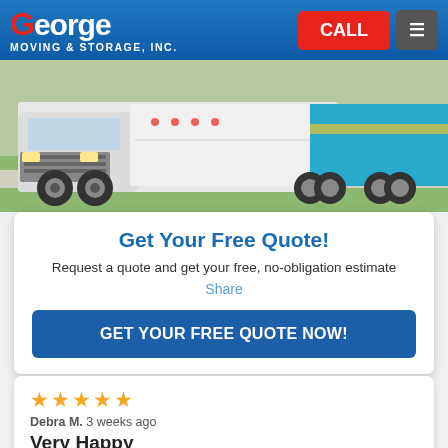George Moving & Storage, Inc. | CALL | Menu
[Figure (photo): White semi-truck with blue trailer on a road with green grass, George Moving & Storage vehicle]
Get Your Free Quote!
Request a quote and get your free, no-obligation estimate
Share
GET YOUR FREE QUOTE NOW!
Debra M. 3 weeks ago
Very Happy